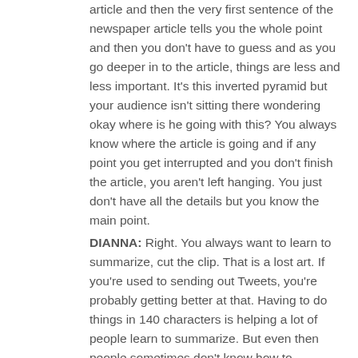article and then the very first sentence of the newspaper article tells you the whole point and then you don't have to guess and as you go deeper in to the article, things are less and less important. It's this inverted pyramid but your audience isn't sitting there wondering okay where is he going with this? You always know where the article is going and if any point you get interrupted and you don't finish the article, you aren't left hanging. You just don't have all the details but you know the main point.
DIANNA:  Right. You always want to learn to summarize, cut the clip. That is a lost art.  If you're used to sending out Tweets, you're probably getting better at that.  Having to do things in 140 characters is helping a lot of people learn to summarize. But even then people sometimes don't know how to